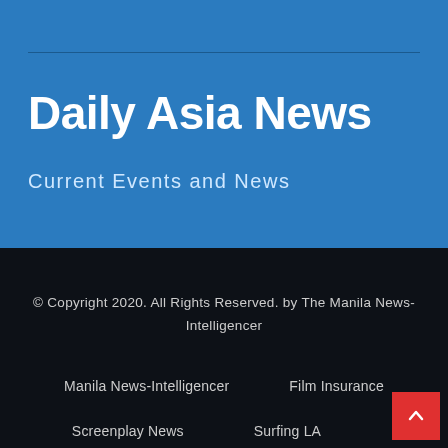Daily Asia News
Current Events and News
© Copyright 2020. All Rights Reserved. by The Manila News-Intelligencer
Manila News-Intelligencer
Film Insurance
Screenplay News
Surfing LA